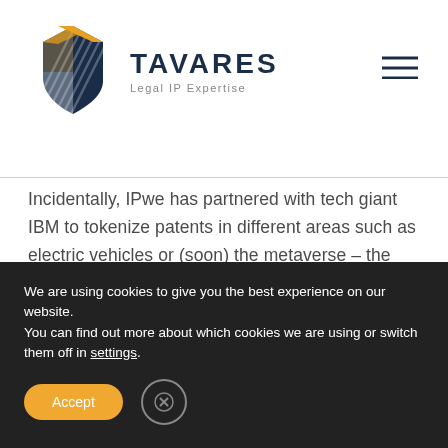[Figure (logo): Tavares Legal IP Expertise logo with hexagonal shield icon in orange and navy blue, with company name TAVARES and tagline Legal IP Expertise]
Incidentally, IPwe has partnered with tech giant IBM to tokenize patents in different areas such as electric vehicles or (soon) the metaverse – the so-called next internet age.
The company facilitates these transactions in Smart Pools, which are a type of patent bank in which patent holders offer their NFT-based licenses to
We are using cookies to give you the best experience on our website.
You can find out more about which cookies we are using or switch them off in settings.